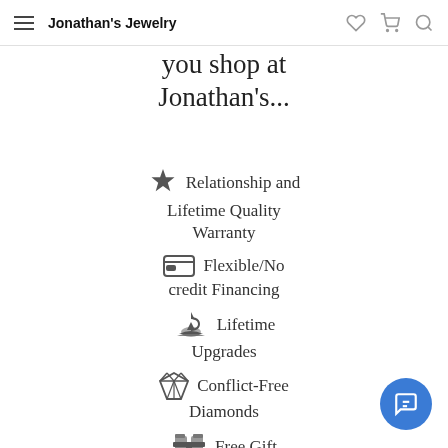Jonathan's Jewelry
you shop at Jonathan's...
Relationship and Lifetime Quality Warranty
Flexible/No credit Financing
Lifetime Upgrades
Conflict-Free Diamonds
Free Gift Wrapping